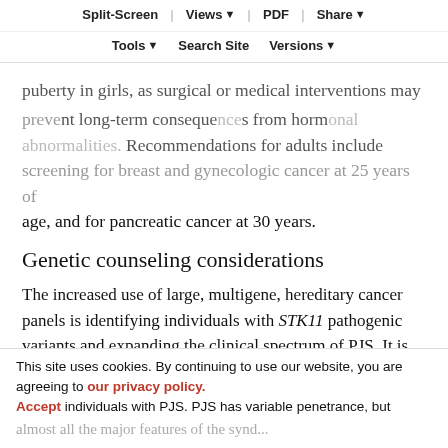Split-Screen | Views | PDF | Share | Tools | Search Site | Versions
puberty in girls, as surgical or medical interventions may prevent long-term consequences from hormonal abnormalities. Recommendations for adults include screening for breast and gynecologic cancer at 25 years of age, and for pancreatic cancer at 30 years.
Genetic counseling considerations
The increased use of large, multigene, hereditary cancer panels is identifying individuals with STK11 pathogenic variants and expanding the clinical spectrum of PJS. It is important to the diagnostic evaluation for PJS to note that the pigmentary features of PJS may not always be present in an affected individual and may have been present in childhood but faded during adulthood. Pigmentary lesions are present in approximately 95% of cases, and exceed 90% in individuals with PJS. PJS has variable penetrance, but almost all the major features of the syndrome...
This site uses cookies. By continuing to use our website, you are agreeing to our privacy policy. Accept